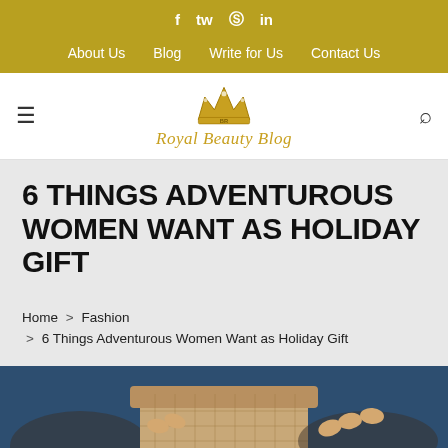f  tw  instagram  in  |  About Us  Blog  Write for Us  Contact Us
[Figure (logo): Royal Beauty Blog logo with gold crown icon and italic script text]
6 THINGS ADVENTUROUS WOMEN WANT AS HOLIDAY GIFT
Home > Fashion > 6 Things Adventurous Women Want as Holiday Gift
[Figure (photo): Hands holding a wrapped burlap gift box on a blue background]